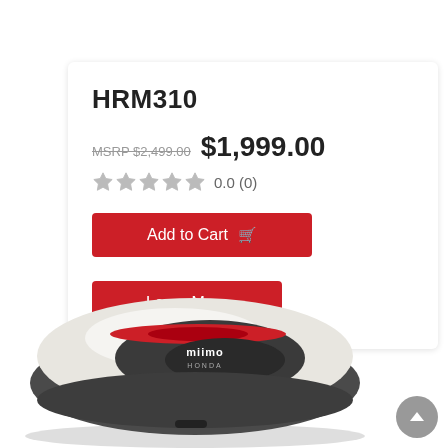HRM310
MSRP $2,499.00  $1,999.00
0.0 (0)
Add to Cart
Learn More
[Figure (photo): Honda Miimo robotic lawn mower, white and dark gray body with red accent stripe and Miimo Honda logo on top, viewed from a three-quarter angle]